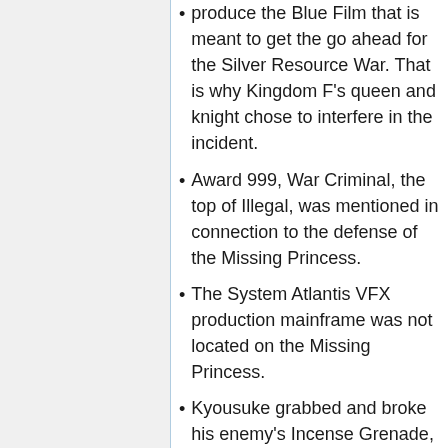produce the Blue Film that is meant to get the go ahead for the Silver Resource War. That is why Kingdom F's queen and knight chose to interfere in the incident.
Award 999, War Criminal, the top of Illegal, was mentioned in connection to the defense of the Missing Princess.
The System Atlantis VFX production mainframe was not located on the Missing Princess.
Kyousuke grabbed and broke his enemy's Incense Grenade, but that counted as a belated detonation after being thrown by Eisen Rosen. An Incense Grenade's mixture pattern is designed to match a specific summoner, so using someone else's will not create an Artificial Sacred